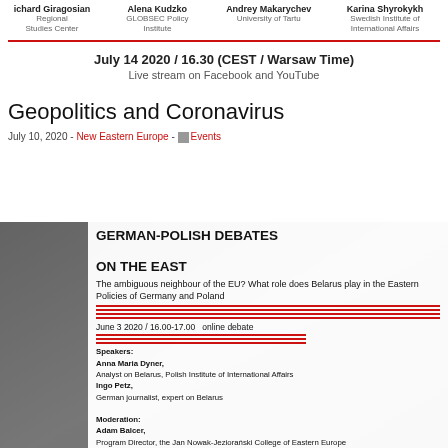Richard Giragosian, Regional Studies Center | Alena Kudzko, GLOBSEC Policy Institute | Andrey Makarychev, University of Tartu | Karina Shyrokykh, Swedish Institute of International Affairs
July 14 2020 / 16.30 (CEST / Warsaw Time)
Live stream on Facebook and YouTube
Geopolitics and Coronavirus
July 10, 2020 - New Eastern Europe - Events
[Figure (photo): Event card image for German-Polish Debates on the East. Shows a grey textured background with left dark panel. White overlay box contains bold title 'GERMAN-POLISH DEBATES ON THE EAST', subtitle 'The ambiguous neighbour of the EU? What role does Belarus play in the Eastern Policies of Germany and Poland', red horizontal lines, date 'June 3 2020 / 16.00-17.00 online debate', and speaker/moderation details including Anna Maria Dyner, Ingo Petz, and Adam Balcer.]